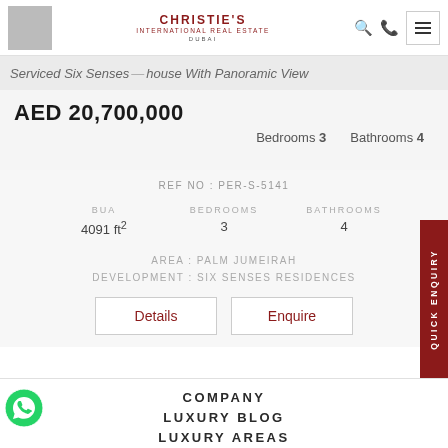Christie's International Real Estate — Dubai
Serviced Six Senses Penthouse With Panoramic View
AED 20,700,000
Bedrooms 3  Bathrooms 4
REF NO : PER-S-5141
| BUA | BEDROOMS | BATHROOMS |
| --- | --- | --- |
| 4091 ft² | 3 | 4 |
AREA : PALM JUMEIRAH
DEVELOPMENT : SIX SENSES RESIDENCES
Details  |  Enquire
COMPANY
LUXURY BLOG
LUXURY AREAS
FLAGSHIP PUBLICATIONS
PROPERTY TYPES